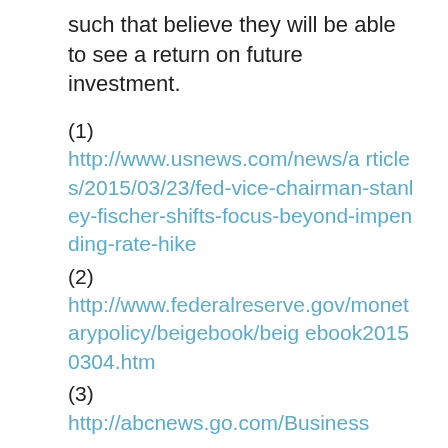such that believe they will be able to see a return on future investment.
(1) http://www.usnews.com/news/articles/2015/03/23/fed-vice-chairman-stanley-fischer-shifts-focus-beyond-impending-rate-hike
(2) http://www.federalreserve.gov/monetarypolicy/beigebook/beigebook20150304.htm
(3) http://abcnews.go.com/Business